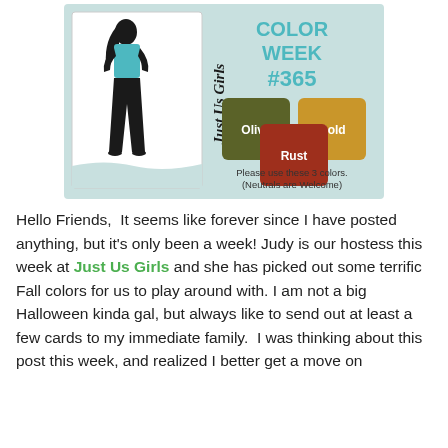[Figure (illustration): Just Us Girls Color Week #365 challenge banner. Light blue/teal background. Left side shows a white card with a black silhouette of a woman in a teal top and black pants, with 'Just Us Girls' written vertically in script. Right side shows 'COLOR WEEK #365' in teal bold text, and three color swatches: olive green labeled 'Olive', gold labeled 'Gold', rust red labeled 'Rust'. Below swatches: 'Please use these 3 colors. (Neutrals are Welcome)']
Hello Friends,  It seems like forever since I have posted anything, but it's only been a week! Judy is our hostess this week at Just Us Girls and she has picked out some terrific Fall colors for us to play around with. I am not a big Halloween kinda gal, but always like to send out at least a few cards to my immediate family.  I was thinking about this post this week, and realized I better get a move on